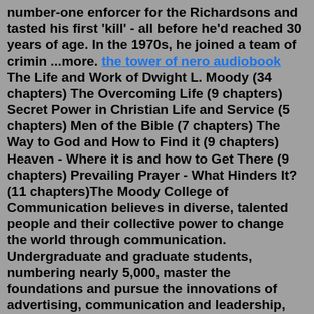number-one enforcer for the Richardsons and tasted his first 'kill' - all before he'd reached 30 years of age. In the 1970s, he joined a team of crimin ...more. the tower of nero audiobook The Life and Work of Dwight L. Moody (34 chapters) The Overcoming Life (9 chapters) Secret Power in Christian Life and Service (5 chapters) Men of the Bible (7 chapters) The Way to God and How to Find it (9 chapters) Heaven - Where it is and how to Get There (9 chapters) Prevailing Prayer - What Hinders It? (11 chapters)The Moody College of Communication believes in diverse, talented people and their collective power to change the world through communication. Undergraduate and graduate students, numbering nearly 5,000, master the foundations and pursue the innovations of advertising, communication and leadership, communication studies, journalism and media, public relations, radio-television-film and speech ... Book: Managing Your Emotions; Book: We Will Not Be Silenced; Book: Pandemics, Plagues, And